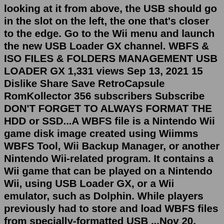looking at it from above, the USB should go in the slot on the left, the one that's closer to the edge. Go to the Wii menu and launch the new USB Loader GX channel. WBFS & ISO FILES & FOLDERS MANAGEMENT USB LOADER GX 1,331 views Sep 13, 2021 15 Dislike Share Save RetroCapsule RomKollector 356 subscribers Subscribe DON'T FORGET TO ALWAYS FORMAT THE HDD or SSD...A WBFS file is a Nintendo Wii game disk image created using Wiimms WBFS Tool, Wii Backup Manager, or another Nintendo Wii-related program. It contains a Wii game that can be played on a Nintendo Wii, using USB Loader GX, or a Wii emulator, such as Dolphin. While players previously had to store and load WBFS files from specially-formatted USB ...Nov 20, 2014 · Works by having any DVD in the system. For some, such as Boom Blox Bash Party, works by using USB loaders with prevent reload, such as USB Loader GX, uLoader, etc. Causes game to crash after few minutes' playing. Replace main.dol with fixed one or use a loader with (partial